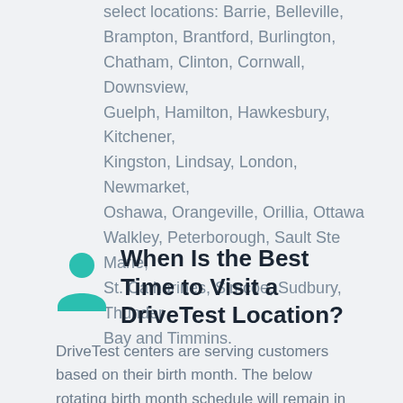Commercial class road testing at 25 select locations: Barrie, Belleville, Brampton, Brantford, Burlington, Chatham, Clinton, Cornwall, Downsview, Guelph, Hamilton, Hawkesbury, Kitchener, Kingston, Lindsay, London, Newmarket, Oshawa, Orangeville, Orillia, Ottawa Walkley, Peterborough, Sault Ste Marie, St. Catharines, Simcoe, Sudbury, Thunder Bay and Timmins.
When Is the Best Time to Visit a DriveTest Location?
DriveTest centers are serving customers based on their birth month. The below rotating birth month schedule will remain in